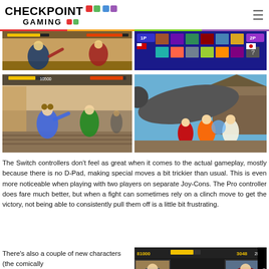CHECKPOINT GAMING
[Figure (screenshot): Street Fighter gameplay screenshot showing fighting characters on a stage]
[Figure (screenshot): Street Fighter character select screen with 1P and 2P indicators]
[Figure (screenshot): Street Fighter II gameplay screenshot showing Chun-Li vs Cammy on a street stage]
[Figure (screenshot): Street Fighter artwork showing characters fighting near a large cannon]
The Switch controllers don't feel as great when it comes to the actual gameplay, mostly because there is no D-Pad, making special moves a bit trickier than usual. This is even more noticeable when playing with two players on separate Joy-Cons. The Pro controller does fare much better, but when a fight can sometimes rely on a clinch move to get the victory, not being able to consistently pull them off is a little bit frustrating.
There's also a couple of new characters (the comically
[Figure (screenshot): Street Fighter Ultra Street Fighter IV screenshot showing a vs screen]